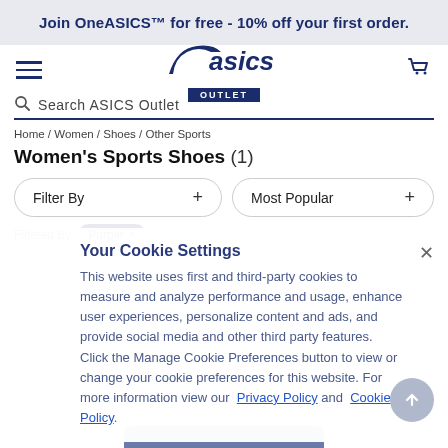Join OneASICS™ for free - 10% off your first order.
[Figure (logo): ASICS Outlet logo with stylized stripe and 'OUTLET' badge]
Search ASICS Outlet
Home / Women / Shoes / Other Sports
Women's Sports Shoes (1)
Filter By
Most Popular
Filtered By   Purple ×
Your Cookie Settings
This website uses first and third-party cookies to measure and analyze performance and usage, enhance user experiences, personalize content and ads, and provide social media and other third party features. Click the Manage Cookie Preferences button to view or change your cookie preferences for this website. For more information view our  Privacy Policy  and  Cookie Policy.